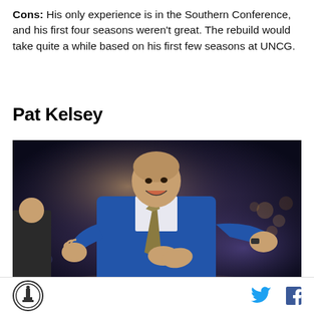Cons: His only experience is in the Southern Conference, and his first four seasons weren't great. The rebuild would take quite a while based on his first few seasons at UNCG.
Pat Kelsey
[Figure (photo): A man in a blue suit with a striped tie, gesturing with his hands raised and mouth open, apparently coaching on a basketball sideline. The background shows a blurred arena crowd.]
Logo icon and social media icons (Twitter, Facebook)